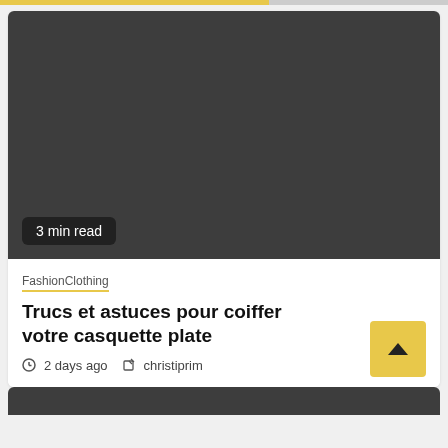[Figure (photo): Dark gray placeholder image area for article thumbnail with '3 min read' badge overlay at bottom left]
3 min read
FashionClothing
Trucs et astuces pour coiffer votre casquette plate
2 days ago  christiprim